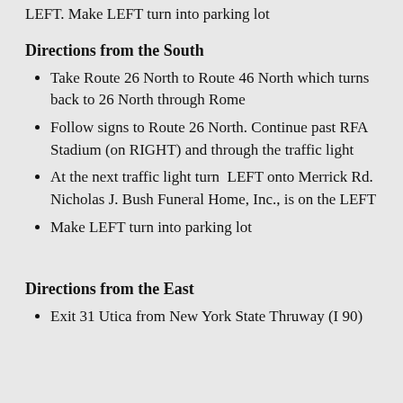LEFT. Make LEFT turn into parking lot
Directions from the South
Take Route 26 North to Route 46 North which turns back to 26 North through Rome
Follow signs to Route 26 North. Continue past RFA Stadium (on RIGHT) and through the traffic light
At the next traffic light turn  LEFT onto Merrick Rd.  Nicholas J. Bush Funeral Home, Inc., is on the LEFT
Make LEFT turn into parking lot
Directions from the East
Exit 31 Utica from New York State Thruway (I 90)